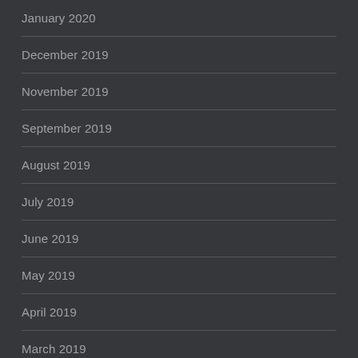January 2020
December 2019
November 2019
September 2019
August 2019
July 2019
June 2019
May 2019
April 2019
March 2019
February 2019